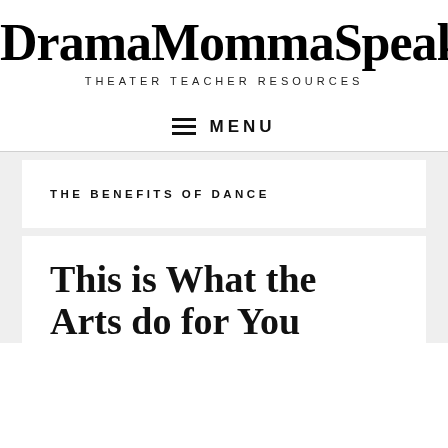DramaMommaSpeak
THEATER TEACHER RESOURCES
≡ MENU
THE BENEFITS OF DANCE
This is What the Arts do for You